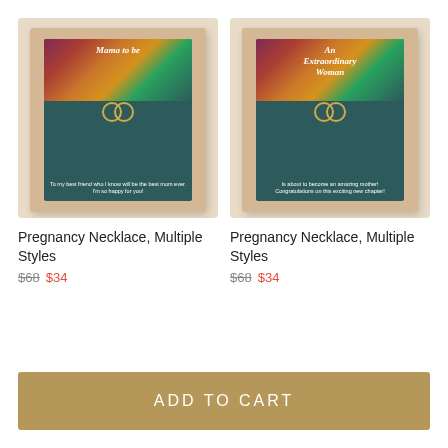[Figure (photo): Product image of Pregnancy Necklace in a gift box with 'Mama to be' message and floral design, featuring a gold double-circle necklace]
Pregnancy Necklace, Multiple Styles
$68  $34
[Figure (photo): Product image of Pregnancy Necklace in a gift box with 'An Extraordinary Woman' message and floral design, featuring a gold double-circle necklace]
Pregnancy Necklace, Multiple Styles
$68  $34
ADD TO CART